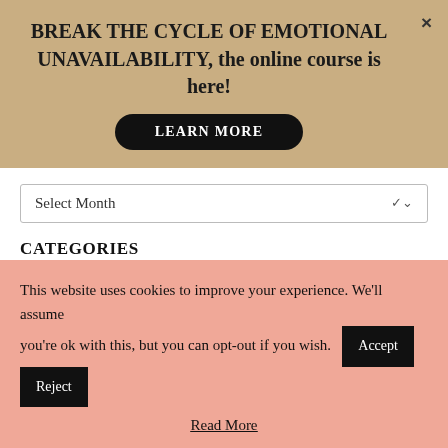BREAK THE CYCLE OF EMOTIONAL UNAVAILABILITY, the online course is here!
LEARN MORE
Select Month
CATEGORIES
Select Category
MOST POPULAR POSTS
30 Signs That Someone Isn't Interested O...
This website uses cookies to improve your experience. We'll assume you're ok with this, but you can opt-out if you wish.
Accept
Reject
Read More